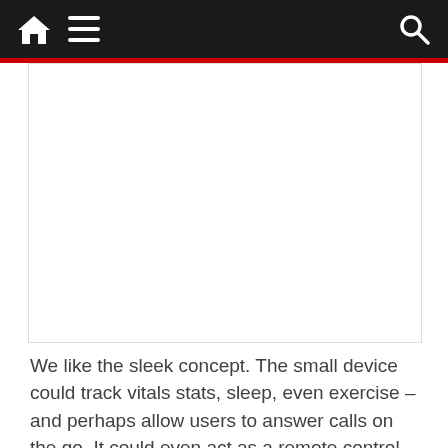Navigation bar with home, menu, and search icons
[Figure (other): White advertisement placeholder area]
We like the sleek concept. The small device could track vitals stats, sleep, even exercise – and perhaps allow users to answer calls on the go. It could even act as a remote control or mouse.
New
Experience
[Figure (photo): Partially visible advertisement overlay at bottom with animal image and 'Experience' text watermark, with close button and up arrow]